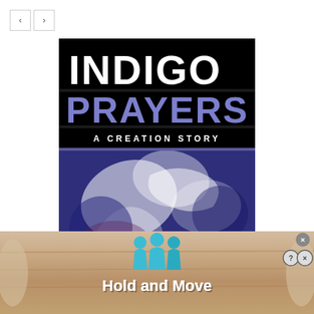[Figure (illustration): Book cover for 'Indigo Prayers: A Creation Story' — black and blue design with large white text 'INDIGO' on black bar, purple text 'PRAYERS' on black bar, subtitle 'A CREATION STORY' on black bar, lower half shows artistic blue and white painted imagery]
[Figure (screenshot): Advertisement banner at bottom showing 'Hold and Move' app with teal/blue figure icons and text on a wooden plank background, with close (X) and help (?) buttons]